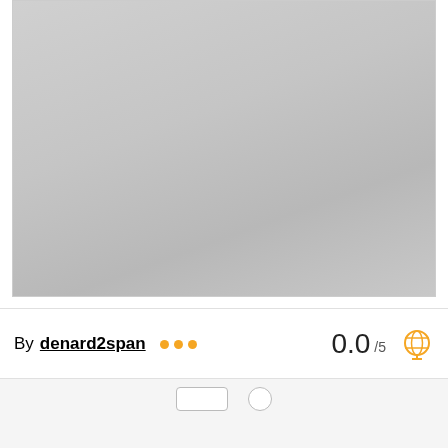[Figure (photo): Large gray placeholder image area occupying the top portion of the page]
By denard2span ... 0.0 /5
[Figure (illustration): Globe/award icon in orange outline style]